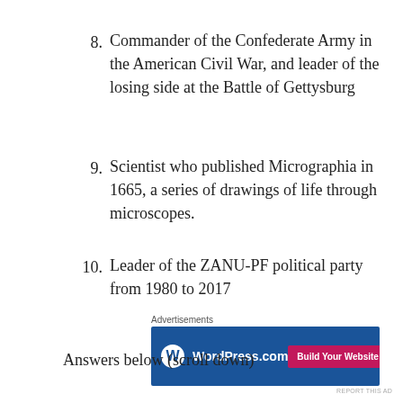8. Commander of the Confederate Army in the American Civil War, and leader of the losing side at the Battle of Gettysburg
9. Scientist who published Micrographia in 1665, a series of drawings of life through microscopes.
10. Leader of the ZANU-PF political party from 1980 to 2017
[Figure (screenshot): WordPress.com advertisement banner with dark blue background showing WordPress logo and 'Build Your Website' pink button]
Answers below (scroll down)